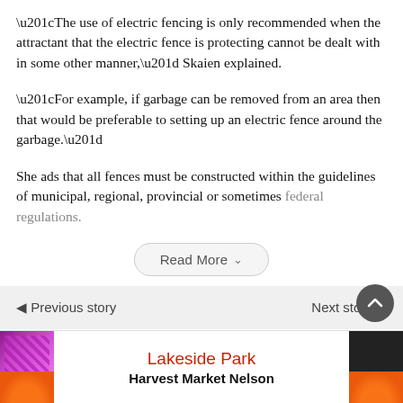“The use of electric fencing is only recommended when the attractant that the electric fence is protecting cannot be dealt with in some other manner,” Skaien explained.
“For example, if garbage can be removed from an area then that would be preferable to setting up an electric fence around the garbage.”
She ads that all fences must be constructed within the guidelines of municipal, regional, provincial or sometimes federal regulations.
[Figure (screenshot): Read More button with dropdown chevron, rounded rectangle style]
[Figure (screenshot): Navigation bar with Previous and Next story links, and scroll-to-top circular button]
[Figure (screenshot): Advertisement banner for Lakeside Park Harvest Market Nelson with purple cabbage on left and dark background on right]